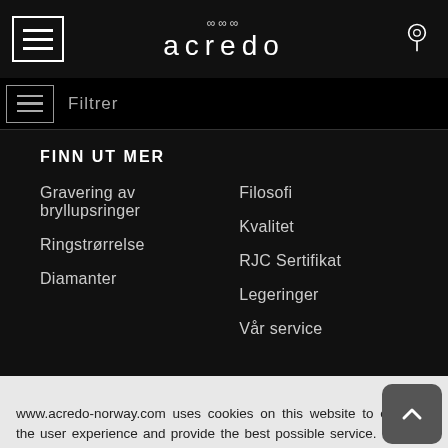acredo
Filtrer
FINN UT MER
Gravering av bryllupsringer
Ringstrørrelse
Diamanter
Filosofi
Kvalitet
RJC Sertifikat
Legeringer
Vår service
www.acredo-norway.com uses cookies on this website to enhance the user experience and provide the best possible service. We also use third party cookies. For details see our privacy policy.
I AGREE
COOKIE OPT-OUT